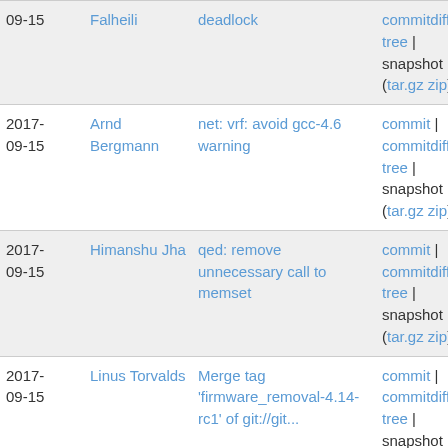| Date | Author | Subject | Links |
| --- | --- | --- | --- |
| 09-15 | Falheili | deadlock | commitdiff | tree | snapshot (tar.gz zip) |
| 2017-09-15 | Arnd Bergmann | net: vrf: avoid gcc-4.6 warning | commit | commitdiff | tree | snapshot (tar.gz zip) |
| 2017-09-15 | Himanshu Jha | qed: remove unnecessary call to memset | commit | commitdiff | tree | snapshot (tar.gz zip) |
| 2017-09-15 | Linus Torvalds | Merge tag 'firmware_removal-4.14-rc1' of git://git... | commit | commitdiff | tree | snapshot (tar.gz zip) |
| 2017-09-15 | Linus Torvalds | Merge tag 'nios2-v4.14-rc1' of git://git./linux/kernel... | commit | commitdiff | tree | snapshot (tar.gz zip) |